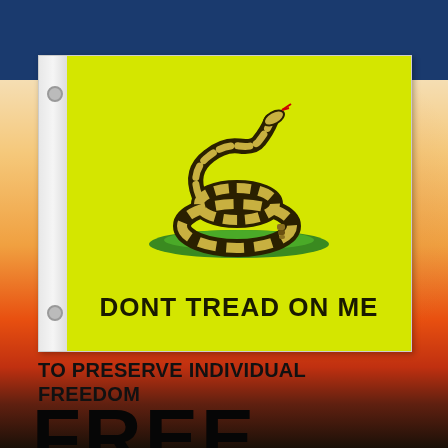[Figure (photo): Gadsden flag (yellow background with coiled rattlesnake on grass and text DONT TREAD ON ME) displayed against a blue sky background, with a gradient sunset scene below]
TO PRESERVE INDIVIDUAL FREEDOM
FREE